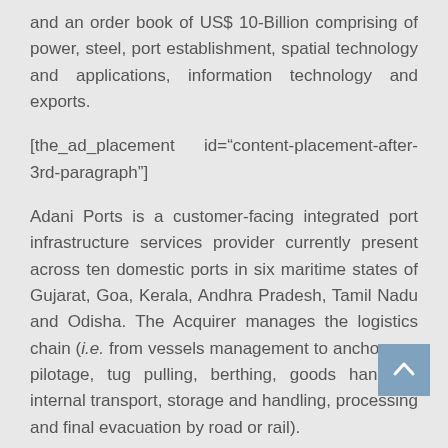and an order book of US$ 10-Billion comprising of power, steel, port establishment, spatial technology and applications, information technology and exports.
[the_ad_placement id="content-placement-after-3rd-paragraph"]
Adani Ports is a customer-facing integrated port infrastructure services provider currently present across ten domestic ports in six maritime states of Gujarat, Goa, Kerala, Andhra Pradesh, Tamil Nadu and Odisha. The Acquirer manages the logistics chain (i.e. from vessels management to anchorage, pilotage, tug pulling, berthing, goods handling, internal transport, storage and handling, processing and final evacuation by road or rail).
KPCL is engaged as a developer and operator of the deep water port at Krishnapatnam, Andhra Pradesh